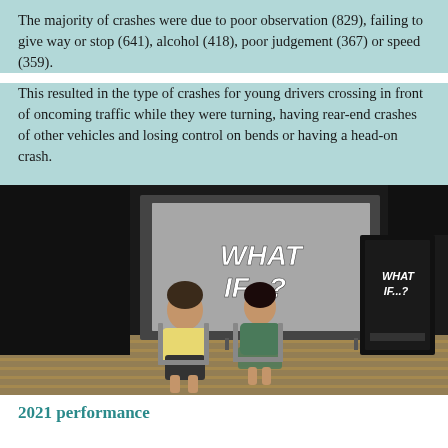The majority of crashes were due to poor observation (829), failing to give way or stop (641), alcohol (418), poor judgement (367) or speed (359).
This resulted in the type of crashes for young drivers crossing in front of oncoming traffic while they were turning, having rear-end crashes of other vehicles and losing control on bends or having a head-on crash.
[Figure (photo): A stage performance photo showing two young people seated in chairs in front of a large projection screen displaying 'WHAT IF...?' in bold italic white text. A branded pull-up banner with 'WHAT IF...?' is visible on the right side. The setting appears to be a school hall or auditorium.]
2021 performance